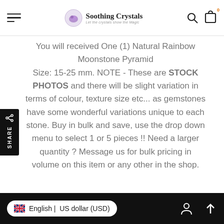Soothing Crystals — Let the Crystals show the Magic
You will received One (1) Natural Rainbow Moonstone Pyramid Size: 15-25 mm. NOTE - These are STOCK PHOTOS and there will be slight variation in terms of colour, texture size etc... as gemstones have some wonderful variations unique to each stone. Buy in bulk and save, use the drop down menu to select 1 or 5 pieces !! Need a larger quantity ? Message us for bulk pricing in volume on this item or any other in the shop.
Related Products
[Figure (photo): Product image strip at bottom of page]
English | US dollar (USD)